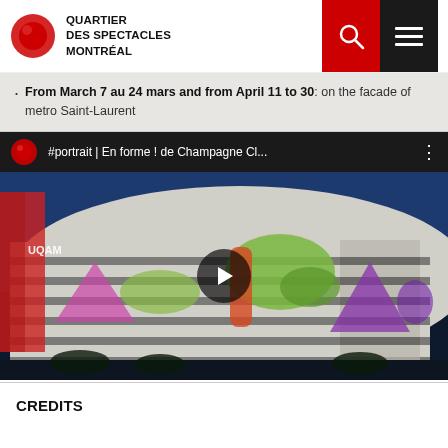QUARTIER DES SPECTACLES MONTRÉAL
From March 7 au 24 mars and from April 11 to 30: on the facade of metro Saint-Laurent
[Figure (screenshot): YouTube-style video embed showing '#portrait | En forme ! de Champagne Cl...' with a thumbnail of the UQAM building with colorful projections at night and a play button overlay]
CREDITS